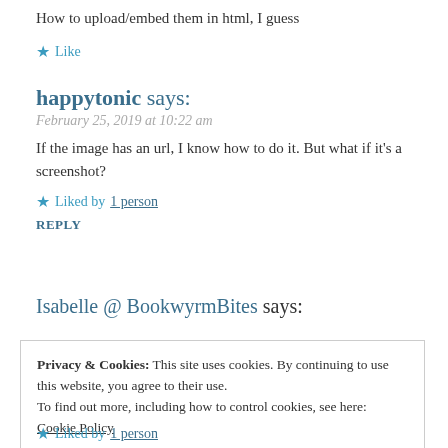How to upload/embed them in html, I guess
★ Like
happytonic says:
February 25, 2019 at 10:22 am
If the image has an url, I know how to do it. But what if it's a screenshot?
★ Liked by 1 person
REPLY
Isabelle @ BookwyrmBites says:
Privacy & Cookies: This site uses cookies. By continuing to use this website, you agree to their use.
To find out more, including how to control cookies, see here: Cookie Policy
Close and accept
★ Liked by 1 person